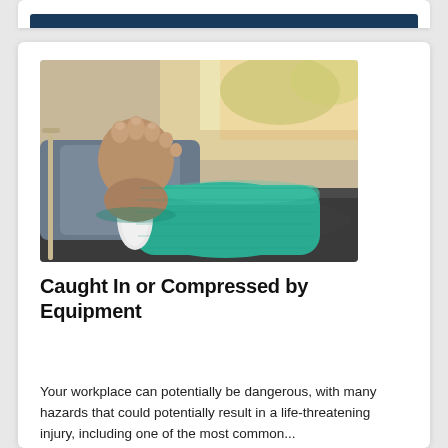[Figure (photo): A person lying on a couch with a broken leg in a teal/green cast, foot raised toward camera.]
Caught In or Compressed by Equipment
Your workplace can potentially be dangerous, with many hazards that could potentially result in a life-threatening injury, including one of the most common...